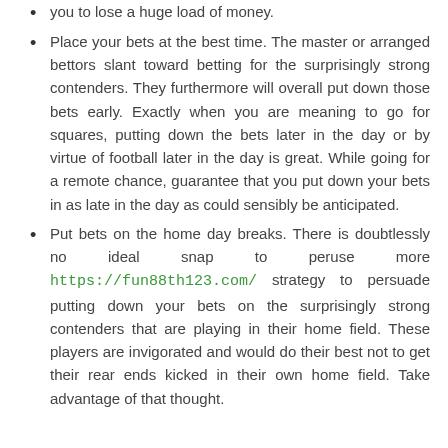Place your bets at the best time. The master or arranged bettors slant toward betting for the surprisingly strong contenders. They furthermore will overall put down those bets early. Exactly when you are meaning to go for squares, putting down the bets later in the day or by virtue of football later in the day is great. While going for a remote chance, guarantee that you put down your bets in as late in the day as could sensibly be anticipated.
Put bets on the home day breaks. There is doubtlessly no ideal snap to peruse more https://fun88th123.com/ strategy to persuade putting down your bets on the surprisingly strong contenders that are playing in their home field. These players are invigorated and would do their best not to get their rear ends kicked in their own home field. Take advantage of that thought.